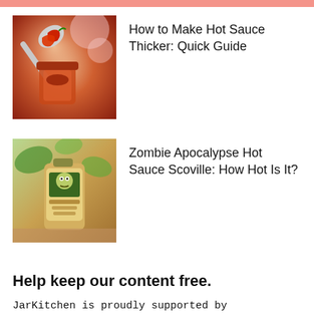[Figure (photo): A spoon holding red chili peppers over a jar of hot sauce, warm orange and red tones]
How to Make Hot Sauce Thicker: Quick Guide
[Figure (photo): A bottle of Zombie Apocalypse Hot Sauce with green plant leaves in the background, yellow-green label with zombie graphic]
Zombie Apocalypse Hot Sauce Scoville: How Hot Is It?
Help keep our content free.
JarKitchen is proudly supported by advertising partners like this one: